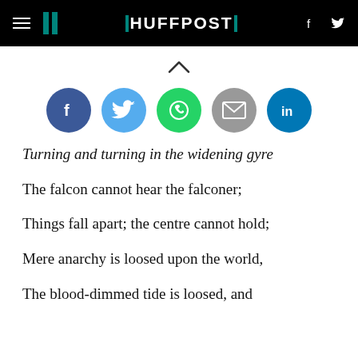HUFFPOST
[Figure (infographic): Social share buttons: Facebook (dark blue), Twitter (light blue), WhatsApp (green), Email (gray), LinkedIn (teal)]
Turning and turning in the widening gyre
The falcon cannot hear the falconer;
Things fall apart; the centre cannot hold;
Mere anarchy is loosed upon the world,
The blood-dimmed tide is loosed, and